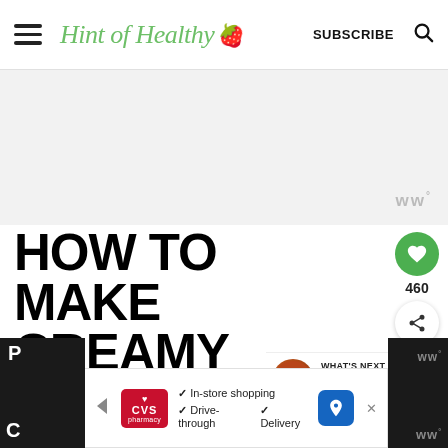Hint of Healthy | SUBSCRIBE
[Figure (screenshot): Gray advertisement placeholder area with Mediavine logo icon (ww°) in bottom right]
HOW TO MAKE CREAMY CHICKEN AND VEGETABLE SOUP
[Figure (infographic): Heart/like button (green circle with heart icon) showing count 460, and share button below]
[Figure (infographic): What's Next arrow with Tuscan Bean Soup thumbnail and label]
[Figure (screenshot): CVS Pharmacy advertisement banner: In-store shopping, Drive-through, Delivery with navigation arrow icon]